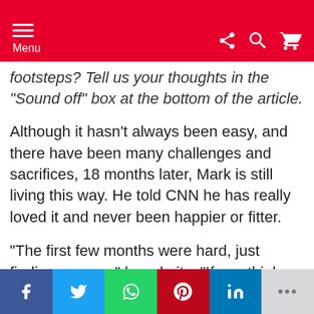Menu
footsteps? Tell us your thoughts in the “Sound off” box at the bottom of the article.
Although it hasn’t always been easy, and there have been many challenges and sacrifices, 18 months later, Mark is still living this way. He told CNN he has really loved it and never been happier or fitter.
“The first few months were hard, just finding my way,” he admits. “If you think about how disruptive it is when you just move house or change a job, imagine changing everything at once. But after a couple of
f  t  (whatsapp)  p  in  ...